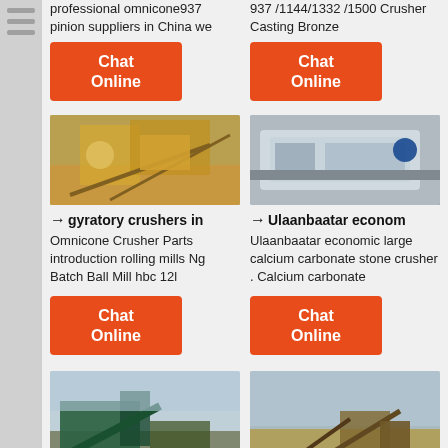professional omnicone937 pinion suppliers in China we
937 /1144/1332 /1500 Crusher Casting Bronze
[Figure (other): Chat Online orange button left column top]
[Figure (other): Chat Online orange button right column top]
[Figure (photo): Gyratory crusher machinery at a quarry site with yellow equipment and conveyor belts]
→ gyratory crushers in
Omnicone Crusher Parts introduction rolling mills Ng Batch Ball Mill hbc 12l
[Figure (photo): White industrial crusher machine with blue motor in a warehouse]
→ Ulaanbaatar econom
Ulaanbaatar economic large calcium carbonate stone crusher . Calcium carbonate
[Figure (other): Chat Online orange button left column middle]
[Figure (other): Chat Online orange button right column middle]
[Figure (photo): Green mobile crushing plant at a quarry with conveyor belt]
[Figure (photo): Crusher plant in an arid landscape with conveyor belt and equipment]